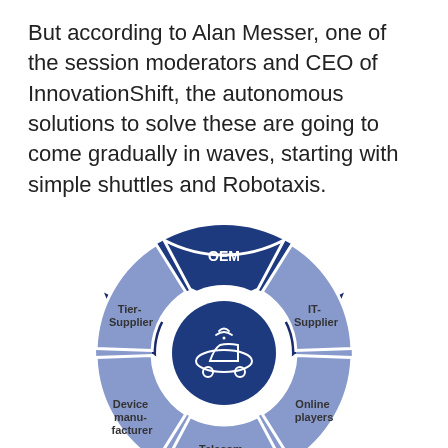But according to Alan Messer, one of the session moderators and CEO of InnovationShift, the autonomous solutions to solve these are going to come gradually in waves, starting with simple shuttles and Robotaxis.
[Figure (infographic): Donut/ring diagram showing automotive ecosystem stakeholders around a connected car icon in the center. Segments: OEM (dark navy, top), IT-Supplier (light purple, upper right), Online players (light purple, lower right), Telecom. companies (light purple, bottom), Device manufacturer (light purple, lower left), Tier-Supplier (light purple, upper left). Center circle shows a car with wifi/connectivity icon on dark navy background.]